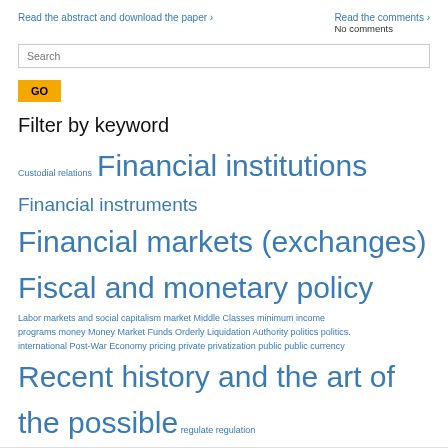Read the abstract and download the paper ›
Read the comments ›
No comments
Search
GO
Filter by keyword
Custodial relations Financial institutions Financial instruments Financial markets (exchanges) Fiscal and monetary policy Labor markets and social capitalism market Middle Classes minimum income programs money Money Market Funds Orderly Liquidation Authority politics politics. international Post-War Economy pricing private privatization public public currency Recent history and the art of the possible regulate regulation sanctions violation Sarbanes-Oxley Savings and Loan Crisis Saving the Euro Standard Chartered state-federal relations stock market Sub-Prime Crisis suitability suitability rules Tax taxes on financial transactions The Great Inflation The Great Moderation Time traded shares traded value translation transnational communication Tri-party Repos valuation Volcker Rule